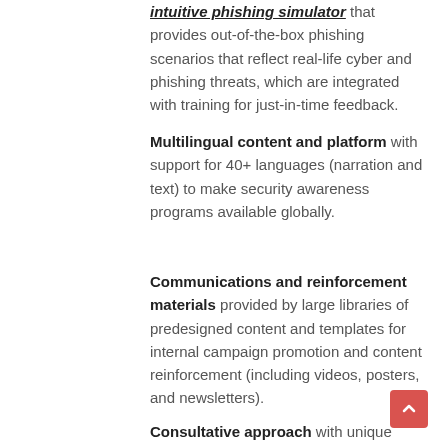intuitive phishing simulator that provides out-of-the-box phishing scenarios that reflect real-life cyber and phishing threats, which are integrated with training for just-in-time feedback.
Multilingual content and platform with support for 40+ languages (narration and text) to make security awareness programs available globally.
Communications and reinforcement materials provided by large libraries of predesigned content and templates for internal campaign promotion and content reinforcement (including videos, posters, and newsletters).
Consultative approach with unique